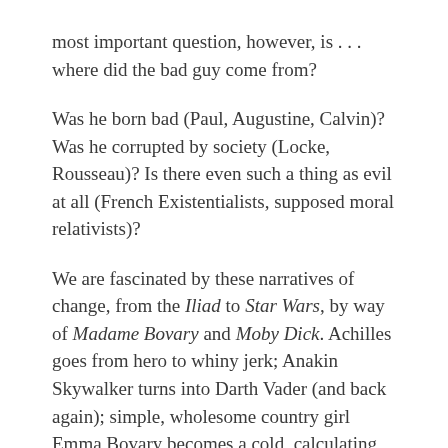most important question, however, is . . . where did the bad guy come from?
Was he born bad (Paul, Augustine, Calvin)? Was he corrupted by society (Locke, Rousseau)? Is there even such a thing as evil at all (French Existentialists, supposed moral relativists)?
We are fascinated by these narratives of change, from the Iliad to Star Wars, by way of Madame Bovary and Moby Dick. Achilles goes from hero to whiny jerk; Anakin Skywalker turns into Darth Vader (and back again); simple, wholesome country girl Emma Bovary becomes a cold, calculating adulteress; Ahab becomes obsessed with a white whale and morphs into something